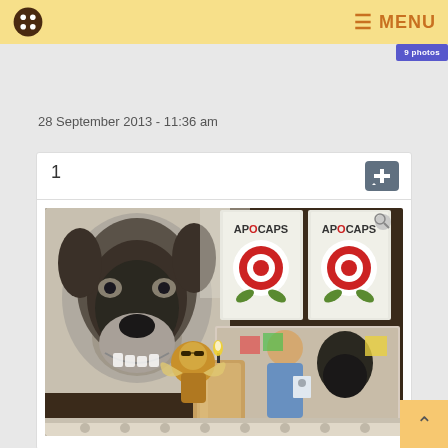MENU
28 September 2013 - 11:36 am
1
[Figure (photo): A memorial display on a mantelpiece showing a pencil/charcoal portrait drawing of a black Rottweiler dog, two boxes of APOCAPS supplements, a small angel figurine, a lit candle, and a photograph of a person with the same black dog.]